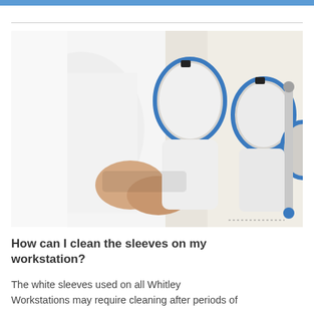[Figure (photo): A person in a white lab coat working with white gloves/sleeves attached to a workstation. The sleeves have blue trim rings and black fasteners. Multiple sleeve ports are visible on the workstation wall.]
How can I clean the sleeves on my workstation?
The white sleeves used on all Whitley
Workstations may require cleaning after periods of